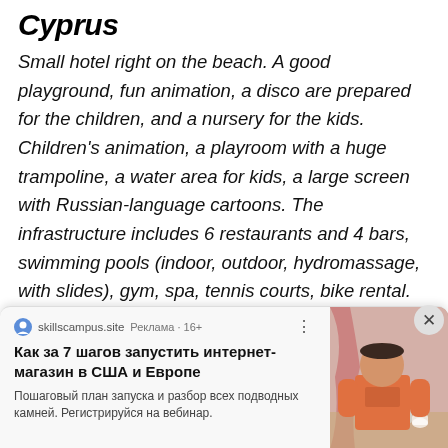Cyprus
Small hotel right on the beach. A good playground, fun animation, a disco are prepared for the children, and a nursery for the kids. Children's animation, a playroom with a huge trampoline, a water area for kids, a large screen with Russian-language cartoons. The infrastructure includes 6 restaurants and 4 bars, swimming pools (indoor, outdoor, hydromassage, with slides), gym, spa, tennis courts, bike rental.
[Figure (other): Advertisement banner overlay from skillscampus.site: 'Как за 7 шагов запустить интернет-магазин в США и Европе' with a photo of a man at a resort, subtext: 'Пошаговый план запуска и разбор всех подводных камней. Регистрируйся на вебинар.']